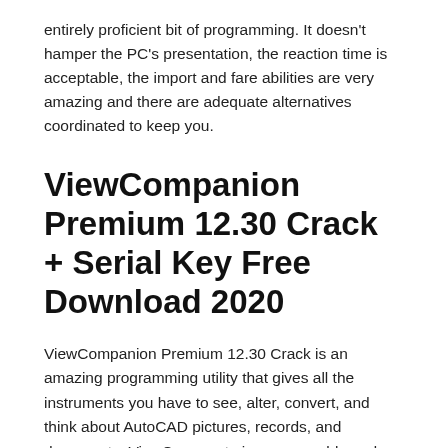entirely proficient bit of programming. It doesn't hamper the PC's presentation, the reaction time is acceptable, the import and fare abilities are very amazing and there are adequate alternatives coordinated to keep you.
ViewCompanion Premium 12.30 Crack + Serial Key Free Download 2020
ViewCompanion Premium 12.30 Crack is an amazing programming utility that gives all the instruments you have to see, alter, convert, and think about AutoCAD pictures, records, and documents. ViewCompmate is a reasonable and instinctive program with a selected interface that permits you to open and view pictures and CAD records, just as make, alter, convert, sign, analyze and